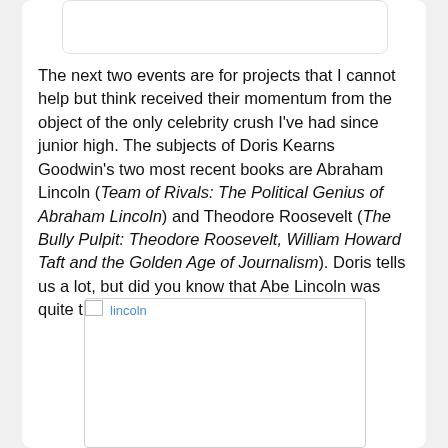The next two events are for projects that I cannot help but think received their momentum from the object of the only celebrity crush I've had since junior high. The subjects of Doris Kearns Goodwin's two most recent books are Abraham Lincoln (Team of Rivals: The Political Genius of Abraham Lincoln) and Theodore Roosevelt (The Bully Pulpit: Theodore Roosevelt, William Howard Taft and the Golden Age of Journalism). Doris tells us a lot, but did you know that Abe Lincoln was quite the cook?
[Figure (photo): A broken image placeholder labeled 'lincoln']